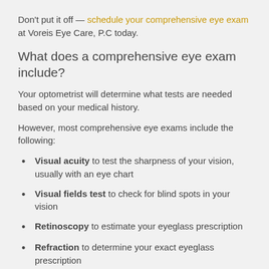Don't put it off — schedule your comprehensive eye exam at Voreis Eye Care, P.C today.
What does a comprehensive eye exam include?
Your optometrist will determine what tests are needed based on your medical history.
However, most comprehensive eye exams include the following:
Visual acuity to test the sharpness of your vision, usually with an eye chart
Visual fields test to check for blind spots in your vision
Retinoscopy to estimate your eyeglass prescription
Refraction to determine your exact eyeglass prescription
Slit lamp to check for common eye diseases and...